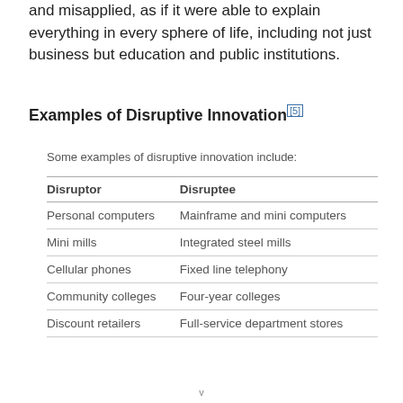and misapplied, as if it were able to explain everything in every sphere of life, including not just business but education and public institutions.
Examples of Disruptive Innovation[5]
Some examples of disruptive innovation include:
| Disruptor | Disruptee |
| --- | --- |
| Personal computers | Mainframe and mini computers |
| Mini mills | Integrated steel mills |
| Cellular phones | Fixed line telephony |
| Community colleges | Four-year colleges |
| Discount retailers | Full-service department stores |
v